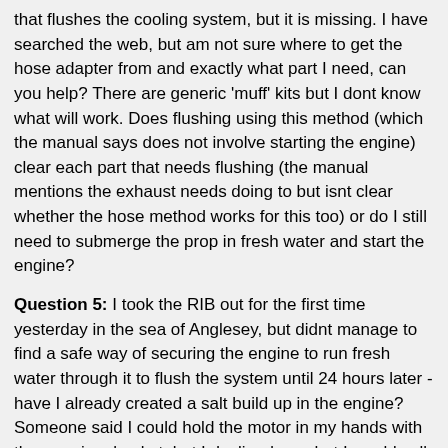that flushes the cooling system, but it is missing. I have searched the web, but am not sure where to get the hose adapter from and exactly what part I need, can you help? There are generic 'muff' kits but I dont know what will work. Does flushing using this method (which the manual says does not involve starting the engine) clear each part that needs flushing (the manual mentions the exhaust needs doing to but isnt clear whether the hose method works for this too) or do I still need to submerge the prop in fresh water and start the engine?
Question 5: I took the RIB out for the first time yesterday in the sea of Anglesey, but didnt manage to find a safe way of securing the engine to run fresh water through it to flush the system until 24 hours later - have I already created a salt build up in the engine? Someone said I could hold the motor in my hands with the prop in a bucket, but I declined on what I would call 'common sense' grounds.
Question 6: I rang the coatguard for advice, they said buy a flare and a VHF radio. Do I need a licence for the said radio? The radios are either £80 or £160 with the sales staff saying the dearer ones are better, I dont want to chat, just to call help if required, what would an experienced person buy in my shoes? I just want to go less than a mile from shore and catch mackerel! Is anyone selling a handheld VHF radio or where can I buy the cheapest practical one, please? I am low